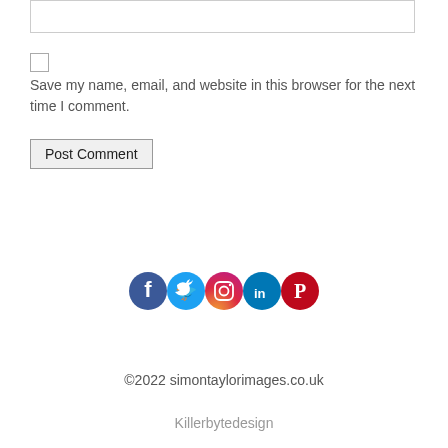[textarea input box]
Save my name, email, and website in this browser for the next time I comment.
Post Comment
[Figure (illustration): Row of five social media icon circles: Facebook (blue), Twitter (light blue), Instagram (gradient orange/purple), LinkedIn (dark blue), Pinterest (red)]
©2022 simontaylorimages.co.uk
Killerbytedesign